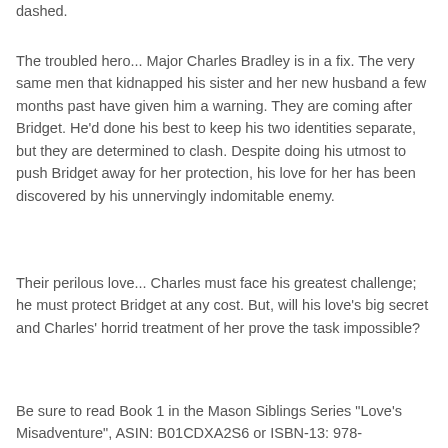dashed.
The troubled hero... Major Charles Bradley is in a fix. The very same men that kidnapped his sister and her new husband a few months past have given him a warning. They are coming after Bridget. He'd done his best to keep his two identities separate, but they are determined to clash. Despite doing his utmost to push Bridget away for her protection, his love for her has been discovered by his unnervingly indomitable enemy.
Their perilous love... Charles must face his greatest challenge; he must protect Bridget at any cost. But, will his love's big secret and Charles' horrid treatment of her prove the task impossible?
Be sure to read Book 1 in the Mason Siblings Series "Love's Misadventure", ASIN: B01CDXA2S6 or ISBN-13: 978-